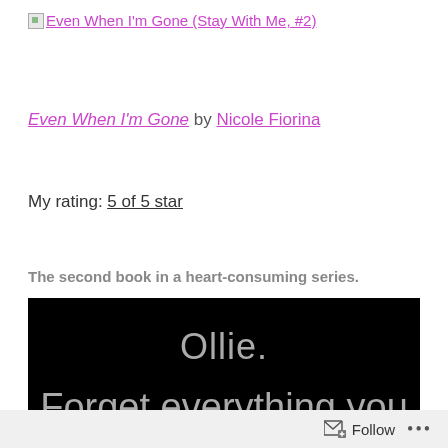[image] Even When I'm Gone (Stay With Me, #2)
Even When I'm Gone by Nicole Fiorina
My rating: 5 of 5 star
The second book in a heart-consuming series.
[Figure (illustration): Black background book quote image with grey text reading: 'Ollie. Forget everything you thought you knew. Hell']
Follow ...